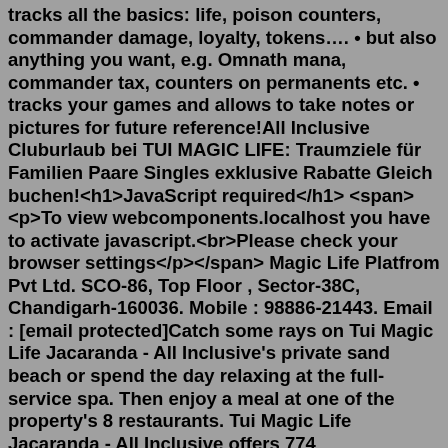tracks all the basics: life, poison counters, commander damage, loyalty, tokens…. • but also anything you want, e.g. Omnath mana, commander tax, counters on permanents etc. • tracks your games and allows to take notes or pictures for future reference!All Inclusive Cluburlaub bei TUI MAGIC LIFE: Traumziele für Familien Paare Singles exklusive Rabatte Gleich buchen!<h1>JavaScript required</h1> <span><p>To view webcomponents.localhost you have to activate javascript.<br>Please check your browser settings</p></span> Magic Life Platfrom Pvt Ltd. SCO-86, Top Floor , Sector-38C, Chandigarh-160036. Mobile : 98886-21443. Email : [email protected]Catch some rays on Tui Magic Life Jacaranda - All Inclusive's private sand beach or spend the day relaxing at the full-service spa. Then enjoy a meal at one of the property's 8 restaurants. Tui Magic Life Jacaranda - All Inclusive offers 774 accommodations with free minibar items and safes. Rooms open to balconies. Username: Password: Remember me. User